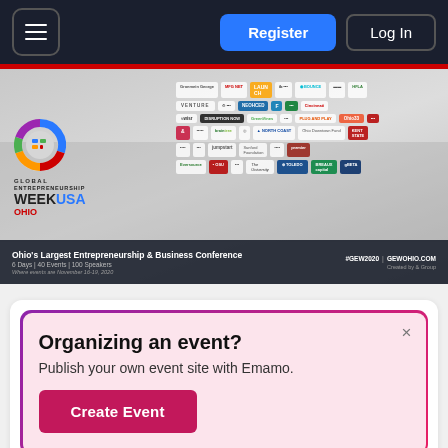Register | Log In
[Figure (screenshot): Global Entrepreneurship Week USA Ohio banner with sponsor logos grid]
Ohio's Largest Entrepreneurship & Business Conference
6 Days | 40 Events | 100 Speakers
#GEW2020 | GEWOHIO.COM
Created by & Group
Organizing an event?
Publish your own event site with Emamo.
Create Event